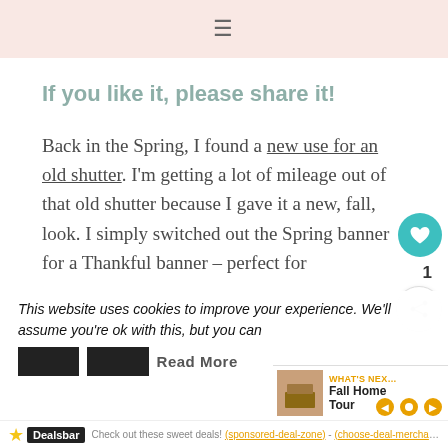≡
If you like it, please share it!
Back in the Spring, I found a new use for an old shutter. I'm getting a lot of mileage out of that old shutter because I gave it a new, fall, look. I simply switched out the Spring banner for a Thankful banner – perfect for
This website uses cookies to improve your experience. We'll assume you're ok with this, but you can
[Figure (screenshot): Cookie consent buttons (Accept, Reject) partially visible]
Read More
[Figure (screenshot): What's Next panel showing Fall Home Tour thumbnail]
Dealsbar — Check out these sweet deals! (sponsored links)